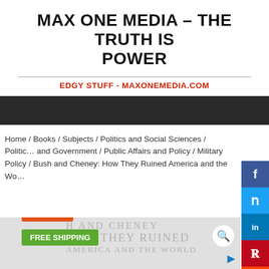MAX ONE MEDIA – THE TRUTH IS POWER
EDGY STUFF - MAXONEMEDIA.COM
Home / Books / Subjects / Politics and Social Sciences / Politics and Government / Public Affairs and Policy / Military Policy / Bush and Cheney: How They Ruined America and the Wo…
[Figure (screenshot): Book cover image for 'Bush and Cheney: How They Ruined America and the World' showing ON SALE and FREE SHIPPING badges over a light gray book cover with large text]
[Figure (infographic): Social media share sidebar with Facebook, Twitter, LinkedIn, Pinterest, Reddit, and another icon buttons]